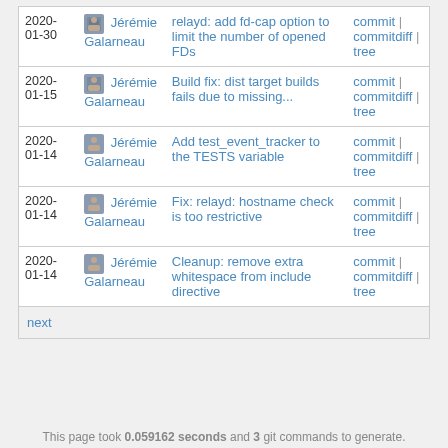| Date | Author | Message | Links |
| --- | --- | --- | --- |
| 2020-01-30 | Jérémie Galarneau | relayd: add fd-cap option to limit the number of opened FDs | commit | commitdiff | tree |
| 2020-01-15 | Jérémie Galarneau | Build fix: dist target builds fails due to missing... | commit | commitdiff | tree |
| 2020-01-14 | Jérémie Galarneau | Add test_event_tracker to the TESTS variable | commit | commitdiff | tree |
| 2020-01-14 | Jérémie Galarneau | Fix: relayd: hostname check is too restrictive | commit | commitdiff | tree |
| 2020-01-14 | Jérémie Galarneau | Cleanup: remove extra whitespace from include directive | commit | commitdiff | tree |
next
This page took 0.059162 seconds and 3 git commands to generate.